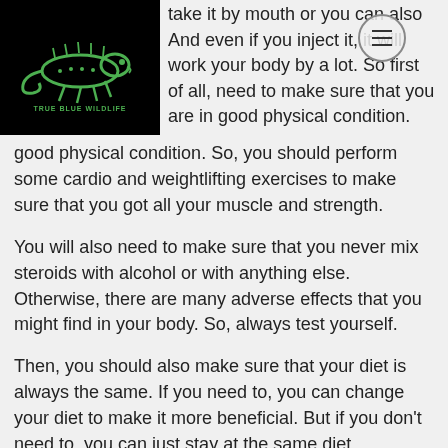[Figure (logo): True Blue Wildlife logo — green chameleon/lizard on black background with text TRUE BLUE WILDLIFE]
take it by mouth or you can also And even if you inject it, it will work your body by a lot. So first of all, need to make sure that you are in good physical condition. So, you should perform some cardio and weightlifting exercises to make sure that you got all your muscle and strength.
You will also need to make sure that you never mix steroids with alcohol or with anything else. Otherwise, there are many adverse effects that you might find in your body. So, always test yourself.
Then, you should also make sure that your diet is always the same. If you need to, you can change your diet to make it more beneficial. But if you don't need to, you can just stay at the same diet.